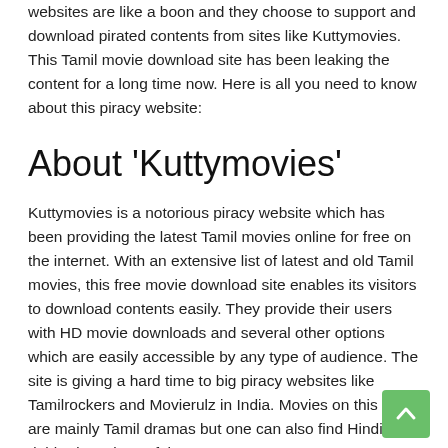websites are like a boon and they choose to support and download pirated contents from sites like Kuttymovies. This Tamil movie download site has been leaking the content for a long time now. Here is all you need to know about this piracy website:
About 'Kuttymovies'
Kuttymovies is a notorious piracy website which has been providing the latest Tamil movies online for free on the internet. With an extensive list of latest and old Tamil movies, this free movie download site enables its visitors to download contents easily. They provide their users with HD movie downloads and several other options which are easily accessible by any type of audience. The site is giving a hard time to big piracy websites like Tamilrockers and Movierulz in India. Movies on this site are mainly Tamil dramas but one can also find Hindi dubbed versions of the same.
Apart from Tollywood movies and TV shows, Kuttymovies